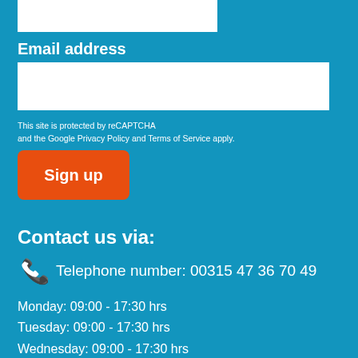Email address
This site is protected by reCAPTCHA and the Google Privacy Policy and Terms of Service apply.
Sign up
Contact us via:
Telephone number: 00315 47 36 70 49
Monday: 09:00 - 17:30 hrs
Tuesday: 09:00 - 17:30 hrs
Wednesday: 09:00 - 17:30 hrs
Thursday: 09:00 - 17:30 hrs
Friday: 09:00 - 17:30 hrs